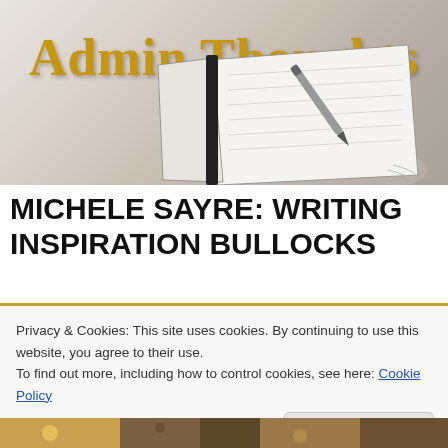[Figure (illustration): Admin Thoughts blog header banner with an open notebook and pen on a light background. Gold serif text reads 'Admin Thoughts' at the top.]
MICHELE SAYRE: WRITING INSPIRATION BULLOCKS
Privacy & Cookies: This site uses cookies. By continuing to use this website, you agree to their use.
To find out more, including how to control cookies, see here: Cookie Policy
[Figure (photo): Partial bottom strip showing a food or lifestyle photo, mostly cut off at the bottom of the page.]